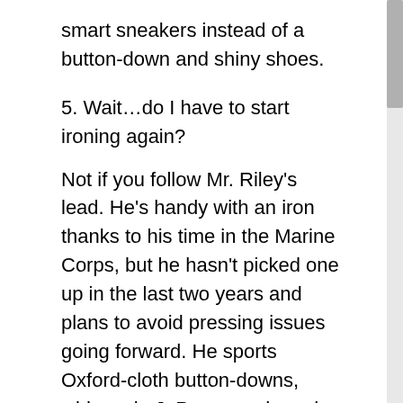smart sneakers instead of a button-down and shiny shoes.
5. Wait…do I have to start ironing again?
Not if you follow Mr. Riley's lead. He's handy with an iron thanks to his time in the Marine Corps, but he hasn't picked one up in the last two years and plans to avoid pressing issues going forward. He sports Oxford-cloth button-downs, wide-wale J. Press cords and sturdy, military-style chinos from RRL that “look fine without a crease.” Mr. Lellouche, meanwhile, has noticed more customers swapping dress shirts for knitted polos or merino-wool crew necks that bring a “softness” to ensembles. Men can “wear the same knit multiple times and just fold it and put it back on the shelf,” he said. “They don’t have to constantly